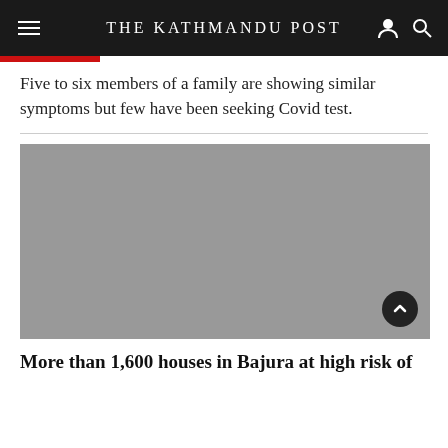THE KATHMANDU POST
Five to six members of a family are showing similar symptoms but few have been seeking Covid test.
[Figure (photo): A grey placeholder image for a news article photo]
More than 1,600 houses in Bajura at high risk of